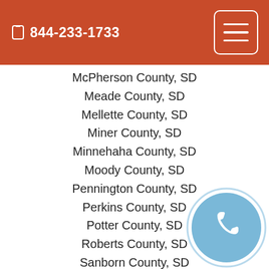844-233-1733
McPherson County, SD
Meade County, SD
Mellette County, SD
Miner County, SD
Minnehaha County, SD
Moody County, SD
Pennington County, SD
Perkins County, SD
Potter County, SD
Roberts County, SD
Sanborn County, SD
Shannon County, SD
Spink County, SD
Stanley County, SD
Sully County, SD
Todd County, SD
Tripp County, SD
Turner County, SD
[Figure (illustration): A circular phone/call button icon with a light blue background circle and a white telephone handset symbol in the center.]